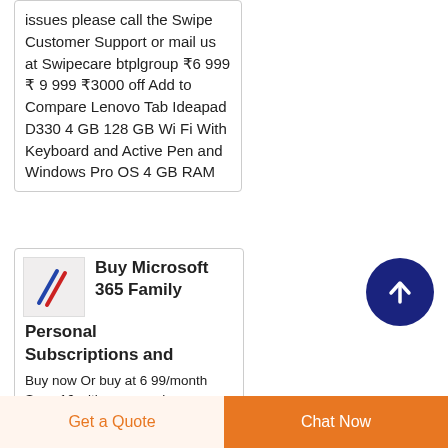issues please call the Swipe Customer Support or mail us at Swipecare btplgroup ₹6 999 ₹ 9 999 ₹3000 off Add to Compare Lenovo Tab Ideapad D330 4 GB 128 GB Wi Fi With Keyboard and Active Pen and Windows Pro OS 4 GB RAM
[Figure (photo): Small thumbnail image showing what appears to be Microsoft 365 related product with pen/stylus on light background]
Buy Microsoft 365 Family Personal Subscriptions and Buy now Or buy at 6 99/month Save 16 with an annual
Get a Quote
Chat Now